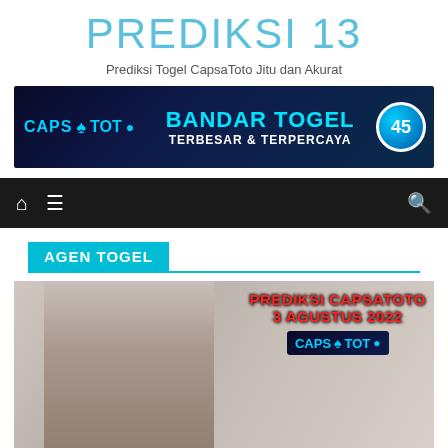PREDIKSI 13
Prediksi Togel CapsaToto Jitu dan Akurat
[Figure (illustration): CapsaToto Bandar Togel Terbesar & Terpercaya banner advertisement with dark blue background, lottery balls, and DNA helix imagery]
[Figure (screenshot): Navigation bar with home icon, hamburger menu icon, and search icon on dark background]
AGEN TOGEL
[Figure (photo): Article thumbnail image showing a person with text overlay: PREDIKSI CAPSATOTO 3 AGUSTUS 2022 with CapsaToto logo]